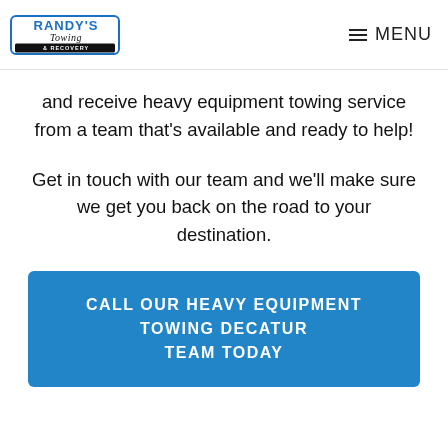Randy's Towing & Recovery — MENU
and receive heavy equipment towing service from a team that's available and ready to help!
Get in touch with our team and we'll make sure we get you back on the road to your destination.
CALL OUR HEAVY EQUIPMENT TOWING DECATUR TEAM TODAY